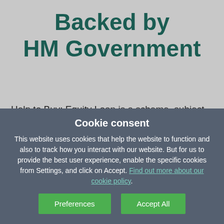Backed by HM Government
Help to Buy: Equity Loan is a scheme, subject to eligibility, terms and conditions, designed to help you buy a new home with help from the Government through Homes England. You'll only need a low deposit of 5% and the
Cookie consent
This website uses cookies that help the website to function and also to track how you interact with our website. But for us to provide the best user experience, enable the specific cookies from Settings, and click on Accept. Find out more about our cookie policy.